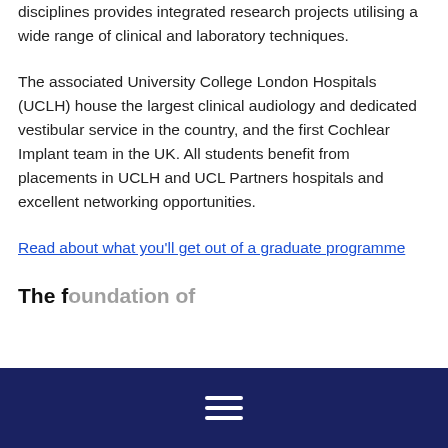disciplines provides integrated research projects utilising a wide range of clinical and laboratory techniques.
The associated University College London Hospitals (UCLH) house the largest clinical audiology and dedicated vestibular service in the country, and the first Cochlear Implant team in the UK. All students benefit from placements in UCLH and UCL Partners hospitals and excellent networking opportunities.
Read about what you'll get out of a graduate programme
The f...